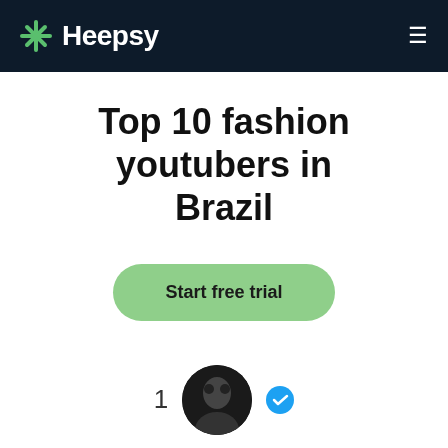Heepsy
Top 10 fashion youtubers in Brazil
Start free trial
1  Games EduUu